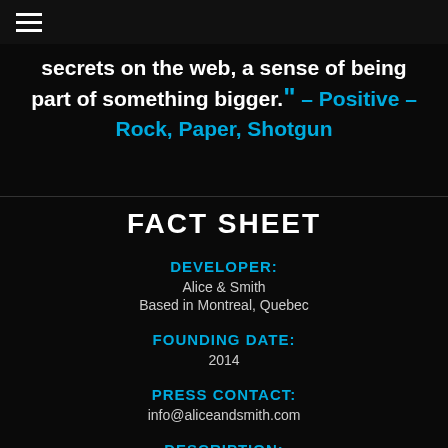☰
secrets on the web, a sense of being part of something bigger." - Positive – Rock, Paper, Shotgun
FACT SHEET
DEVELOPER:
Alice & Smith
Based in Montreal, Quebec
FOUNDING DATE:
2014
PRESS CONTACT:
info@aliceandsmith.com
DESCRIPTION: